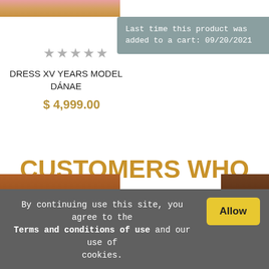[Figure (photo): Partial top of a dress product photo showing pink/gold fabric]
Last time this product was added to a cart: 09/20/2021
★★★★★
DRESS XV YEARS MODEL DÁNAE
$ 4,999.00
CUSTOMERS WHO BOUGHT THIS PRODUCT ALSO BOUGHT:
[Figure (photo): Bottom partial product images showing dresses]
By continuing use this site, you agree to the Terms and conditions of use and our use of cookies.